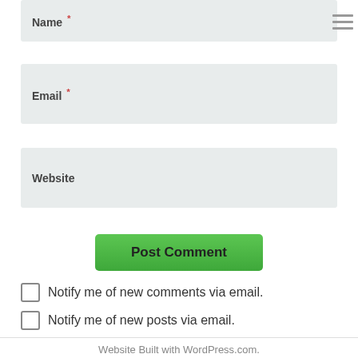[Figure (screenshot): Name input field with label 'Name *' on a light gray background]
[Figure (screenshot): Email input field with label 'Email *' on a light gray background]
[Figure (screenshot): Website input field with label 'Website' on a light gray background]
[Figure (screenshot): Green 'Post Comment' button]
Notify me of new comments via email.
Notify me of new posts via email.
Website Built with WordPress.com.